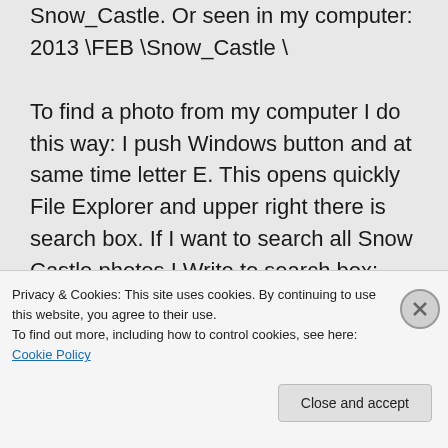Snow_Castle. Or seen in my computer: 2013 \FEB \Snow_Castle \

To find a photo from my computer I do this way: I push Windows button and at same time letter E. This opens quickly File Explorer and upper right there is search box. If I want to search all Snow Castle photos I Write to search box: *snow_cast*.jpg. I used underscore, because I named my photos with them. If I want to search all photos in which there is
Privacy & Cookies: This site uses cookies. By continuing to use this website, you agree to their use.
To find out more, including how to control cookies, see here: Cookie Policy